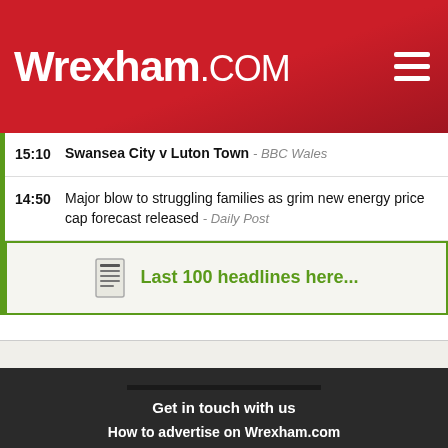Wrexham.COM
15:10  Swansea City v Luton Town - BBC Wales
14:50  Major blow to struggling families as grim new energy price cap forecast released - Daily Post
Last 100 headlines here...
ABOUT US
Get in touch with us
How to advertise on Wrexham.com